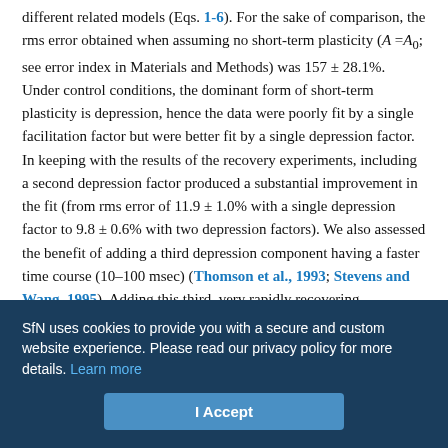different related models (Eqs. 1-6). For the sake of comparison, the rms error obtained when assuming no short-term plasticity (A =A₀; see error index in Materials and Methods) was 157 ± 28.1%. Under control conditions, the dominant form of short-term plasticity is depression, hence the data were poorly fit by a single facilitation factor but were better fit by a single depression factor. In keeping with the results of the recovery experiments, including a second depression factor produced a substantial improvement in the fit (from rms error of 11.9 ± 1.0% with a single depression factor to 9.8 ± 0.6% with two depression factors). We also assessed the benefit of adding a third depression component having a faster time course (10–100 msec) (Thomson et al., 1993; Stevens and Wang, 1995). Adding this third, very rapidly recovering depression factor produced
SfN uses cookies to provide you with a secure and custom website experience. Please read our privacy policy for more details. Learn more
I Accept